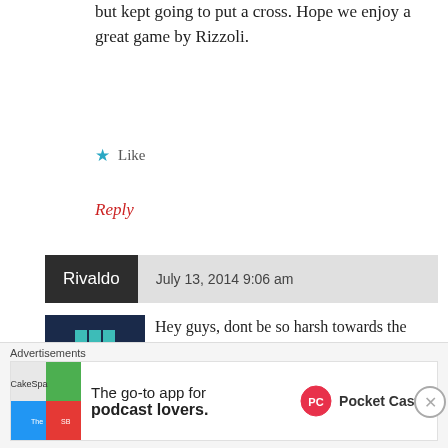but kept going to put a cross. Hope we enjoy a great game by Rizzoli.
★ Like
Reply
Rivaldo   July 13, 2014 9:06 am
[Figure (illustration): Pixel art avatar with teal/cyan geometric pattern on dark blue background]
Hey guys, dont be so harsh towards the referee, despite loving the game and working hard on handling some good matches, he was attacked since the beginning of the World Cup for his
Advertisements
The go-to app for podcast lovers. Pocket Casts